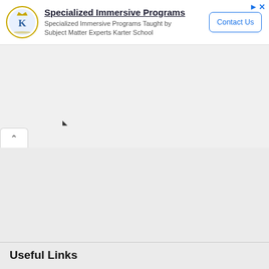[Figure (infographic): Advertisement banner for Karter School with logo, title 'Specialized Immersive Programs', subtitle text, and Contact Us button]
Specialized Immersive Programs
Specialized Immersive Programs Taught by Subject Matter Experts Karter School
Contact Us
Useful Links